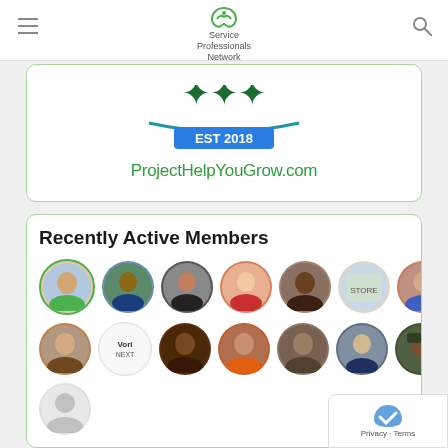Service Professionals Network
[Figure (logo): ProjectHelpYouGrow.com logo with EST 2018 badge and green figures]
Recently Active Members
[Figure (photo): Grid of circular profile photos of recently active members — two rows of 7 avatars each plus one partial row with a gray silhouette placeholder]